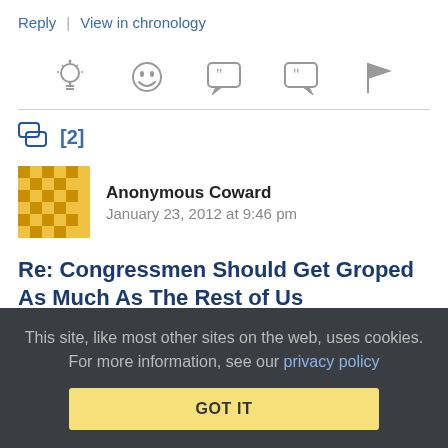Reply | View in chronology
[Figure (infographic): Row of action icons: lightbulb (insight), laughing emoji (funny), speech bubble with open-quote (quote), speech bubble with close-quote (respond), flag (report)]
[2]
Anonymous Coward   January 23, 2012 at 9:46 pm
Re: Congressmen Should Get Groped As Much As The Rest of Us
Yes, I expect they should have some training into recognizing
This site, like most other sites on the web, uses cookies. For more information, see our privacy policy
GOT IT